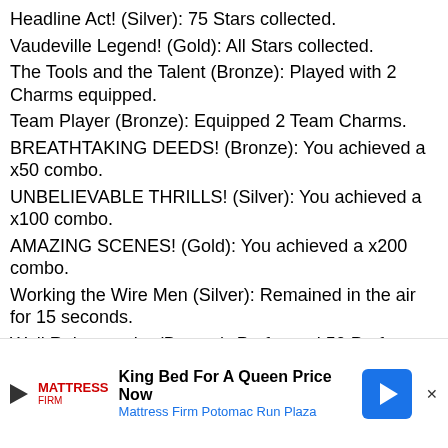Headline Act! (Silver): 75 Stars collected.
Vaudeville Legend! (Gold): All Stars collected.
The Tools and the Talent (Bronze): Played with 2 Charms equipped.
Team Player (Bronze): Equipped 2 Team Charms.
BREATHTAKING DEEDS! (Bronze): You achieved a x50 combo.
UNBELIEVABLE THRILLS! (Silver): You achieved a x100 combo.
AMAZING SCENES! (Gold): You achieved a x200 combo.
Working the Wire Men (Silver): Remained in the air for 15 seconds.
Well Rehearsed... (Bronze): Performed 50 Perfect Scenes.
Roughly Tumbled (Bronze): Performed 50 Cannonball Combos.
JaBaroni (Bronze): Performed 100 Stunning Piledrivers.
You should see my backhand... (Bronze): Performed 50 Ace Returns.
Unstoppable Force (Bronze): Performed 100 Magnificent Combos.
The Stage...